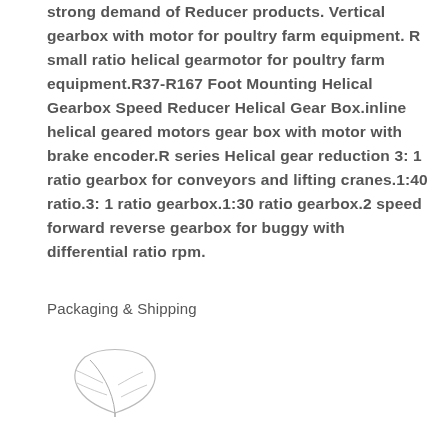strong demand of Reducer products. Vertical gearbox with motor for poultry farm equipment. R small ratio helical gearmotor for poultry farm equipment.R37-R167 Foot Mounting Helical Gearbox Speed Reducer Helical Gear Box.inline helical geared motors gear box with motor with brake encoder.R series Helical gear reduction 3: 1 ratio gearbox for conveyors and lifting cranes.1:40 ratio.3: 1 ratio gearbox.1:30 ratio gearbox.2 speed forward reverse gearbox for buggy with differential ratio rpm.
Packaging & Shipping
[Figure (illustration): A hand-drawn or stylized illustration of a leaf or feather shape, rendered in light gray outline style]